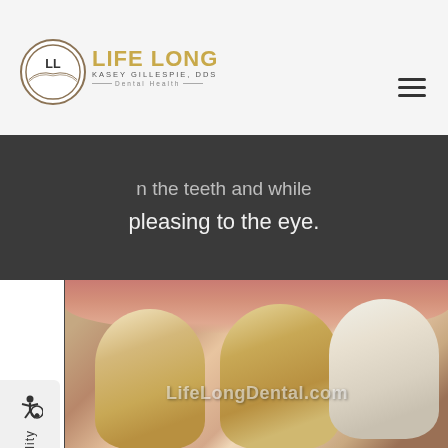Life Long Dental Health — Kasey Gillespie, DDS
...on the teeth and while pleasing to the eye.
[Figure (photo): Close-up clinical photograph of teeth showing discoloration and gum tissue, watermarked with LifeLongDental.com]
Accessibility